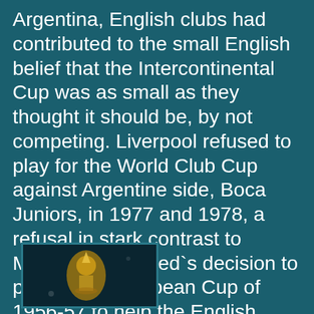Argentina, English clubs had contributed to the small English belief that the Intercontinental Cup was as small as they thought it should be, by not competing. Liverpool refused to play for the World Club Cup against Argentine side, Boca Juniors, in 1977 and 1978, a refusal in stark contrast to Manchester United`s decision to play in the European Cup of 1956-57 to help the English Football Association`s preparation for the World Cup.
[Figure (photo): Small thumbnail photograph, dark image showing what appears to be a trophy or similar object, with a teal/dark border frame.]